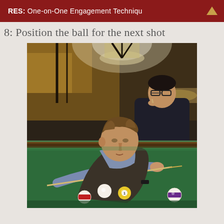RES: One-on-One Engagement Techniqu
8: Position the ball for the next shot
[Figure (photo): A man leans over a pool/billiards table taking a shot with a cue stick, focusing intently. Several billiard balls are visible on the green felt table. In the background, another person stands watching and appears to be eating or drinking something. The setting is a dimly lit billiards hall with overhead lighting.]